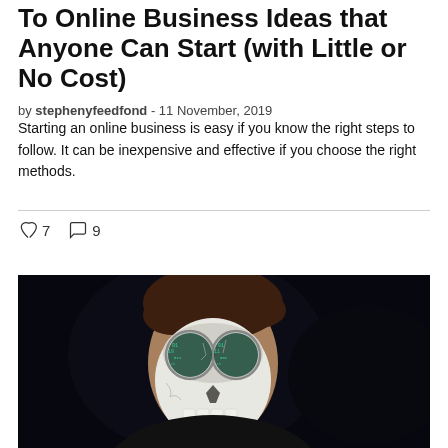To Online Business Ideas that Anyone Can Start (with Little or No Cost)
by stephenyfeedfond - 11 November, 2019
Starting an online business is easy if you know the right steps to follow. It can be inexpensive and effective if you choose the right methods.
[Figure (photo): Person wearing skull face paint and glasses with code reflections on lenses, against a dark/black background]